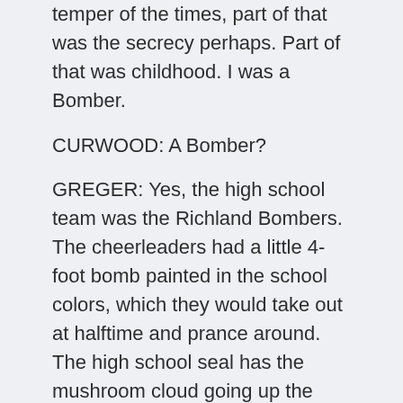temper of the times, part of that was the secrecy perhaps. Part of that was childhood. I was a Bomber.
CURWOOD: A Bomber?
GREGER: Yes, the high school team was the Richland Bombers. The cheerleaders had a little 4-foot bomb painted in the school colors, which they would take out at halftime and prance around. The high school seal has the mushroom cloud going up the middle of it, so --
CURWOOD: A mushroom cloud?